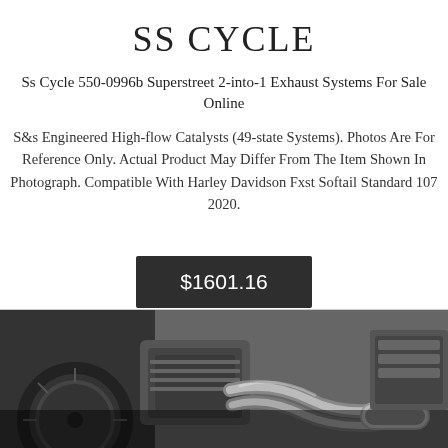SS CYCLE
Ss Cycle 550-0996b Superstreet 2-into-1 Exhaust Systems For Sale Online
S&s Engineered High-flow Catalysts (49-state Systems). Photos Are For Reference Only. Actual Product May Differ From The Item Shown In Photograph. Compatible With Harley Davidson Fxst Softail Standard 107 2020.
$1601.16
[Figure (photo): Black and white photograph of a motorcycle exhaust system / engine area, showing pipes, engine block and wheel]